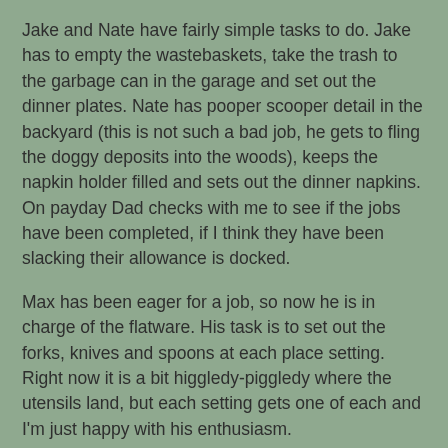Jake and Nate have fairly simple tasks to do. Jake has to empty the wastebaskets, take the trash to the garbage can in the garage and set out the dinner plates. Nate has pooper scooper detail in the backyard (this is not such a bad job, he gets to fling the doggy deposits into the woods), keeps the napkin holder filled and sets out the dinner napkins. On payday Dad checks with me to see if the jobs have been completed, if I think they have been slacking their allowance is docked.
Max has been eager for a job, so now he is in charge of the flatware. His task is to set out the forks, knives and spoons at each place setting. Right now it is a bit higgledy-piggledy where the utensils land, but each setting gets one of each and I'm just happy with his enthusiasm.
Yesterday I took Max and Rebecca out shopping to get each of them their very own piggy banks. Mind you, nothing too elaborate or fragile. We went to Wal-mart, I needed to pick up a few grocery items and I thought we could get the banks while we were there.